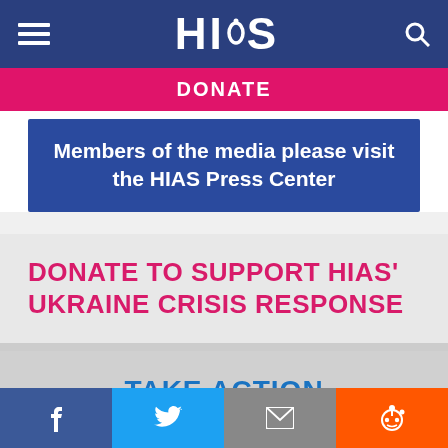HIAS
DONATE
Members of the media please visit the HIAS Press Center
DONATE TO SUPPORT HIAS' UKRAINE CRISIS RESPONSE
TAKE ACTION
DONATE
[Figure (screenshot): Social share bar with Facebook, Twitter, Email, and Reddit icons]